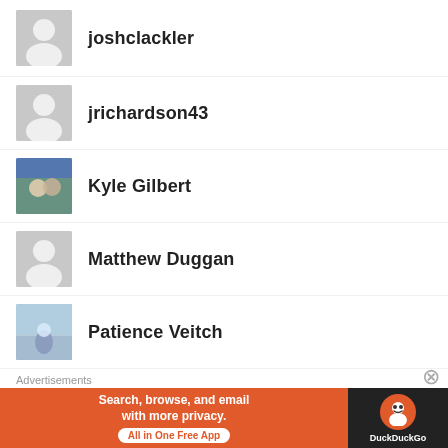joshclackler
jrichardson43
Kyle Gilbert
Matthew Duggan
Patience Veitch
Ryan Ruffing
Advertisements
[Figure (photo): DuckDuckGo advertisement banner: orange left side with text 'Search, browse, and email with more privacy. All in One Free App' and dark right side with DuckDuckGo logo]